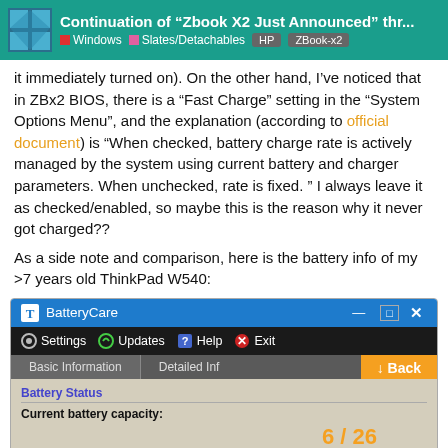Continuation of "Zbook X2 Just Announced" thr... | Windows | Slates/Detachables | HP | ZBook-x2
it immediately turned on). On the other hand, I've noticed that in ZBx2 BIOS, there is a "Fast Charge" setting in the "System Options Menu", and the explanation (according to official document) is "When checked, battery charge rate is actively managed by the system using current battery and charger parameters. When unchecked, rate is fixed. " I always leave it as checked/enabled, so maybe this is the reason why it never got charged??
As a side note and comparison, here is the battery info of my >7 years old ThinkPad W540:
[Figure (screenshot): Screenshot of BatteryCare application showing titlebar with minimize, maximize, close buttons, menubar with Settings, Updates, Help, Exit options, tabs for Basic Information and Detailed Info, and a Battery Status section showing Current battery capacity. An orange Back button (6/26) overlays the bottom right.]